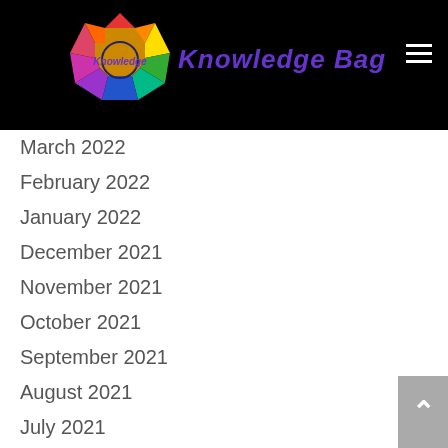Knowledge Bag
March 2022
February 2022
January 2022
December 2021
November 2021
October 2021
September 2021
August 2021
July 2021
June 2021
May 2021
April 2021